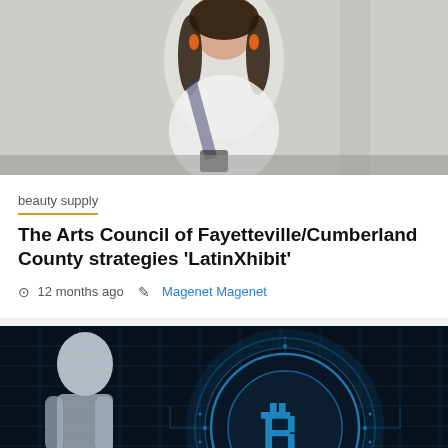[Figure (photo): Woman smiling wearing white dress with orange earrings and a sash, photographed against a light wall background]
beauty supply
The Arts Council of Fayetteville/Cumberland County strategies 'LatinXhibit'
12 months ago   Magenet Magenet
[Figure (photo): Dark blue digital illustration of a humanoid figure with a glowing Bitcoin coin symbol with circuit patterns, on a dark grid background. Gold back-to-top arrow button in bottom right corner.]